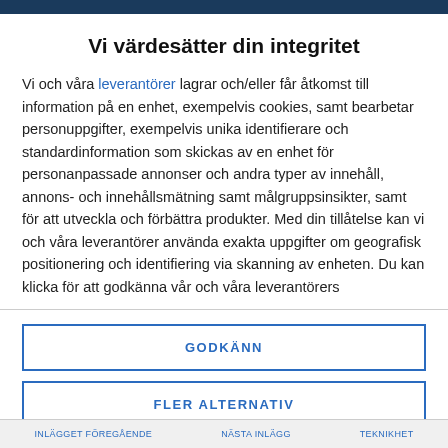Vi värdesätter din integritet
Vi och våra leverantörer lagrar och/eller får åtkomst till information på en enhet, exempelvis cookies, samt bearbetar personuppgifter, exempelvis unika identifierare och standardinformation som skickas av en enhet för personanpassade annonser och andra typer av innehåll, annons- och innehållsmätning samt målgruppsinsikter, samt för att utveckla och förbättra produkter. Med din tillåtelse kan vi och våra leverantörer använda exakta uppgifter om geografisk positionering och identifiering via skanning av enheten. Du kan klicka för att godkänna vår och våra leverantörers uppgiftsbehandling enligt beskrivningen ovan. Alternativt kan du få åtkomst till mer detaljerad information och ändra dina inställningar innan du samtycker eller för att neka
GODKÄNN
FLER ALTERNATIV